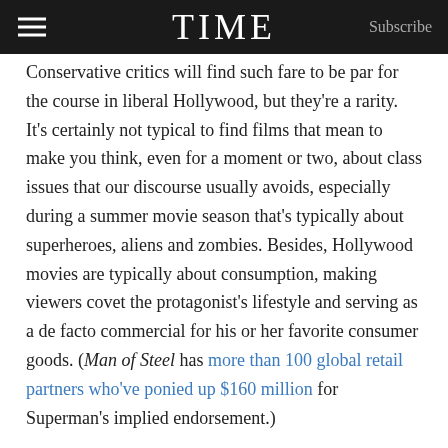TIME
Conservative critics will find such fare to be par for the course in liberal Hollywood, but they're a rarity. It's certainly not typical to find films that mean to make you think, even for a moment or two, about class issues that our discourse usually avoids, especially during a summer movie season that's typically about superheroes, aliens and zombies. Besides, Hollywood movies are typically about consumption, making viewers covet the protagonist's lifestyle and serving as a de facto commercial for his or her favorite consumer goods. (Man of Steel has more than 100 global retail partners who've ponied up $160 million for Superman's implied endorsement.)
Why, then, the sudden minitrend of class-struggle movies? The timing may not be a coincidence. It takes about two years for a film to go from conception to release. And nearly two years ago, in September 2011, the birth of the Occupy movement caught America's attention and found a gravitational...